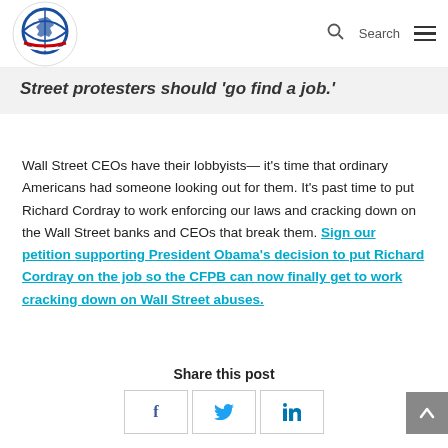Logo navigation with search and menu icons
Street protesters should 'go find a job.'
Wall Street CEOs have their lobbyists— it's time that ordinary Americans had someone looking out for them. It's past time to put Richard Cordray to work enforcing our laws and cracking down on the Wall Street banks and CEOs that break them. Sign our petition supporting President Obama's decision to put Richard Cordray on the job so the CFPB can now finally get to work cracking down on Wall Street abuses.
Share this post
[Figure (other): Social share buttons: Facebook, Twitter, LinkedIn]